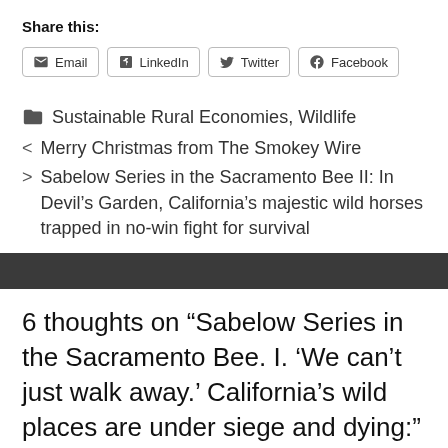Share this:
Email | LinkedIn | Twitter | Facebook
Sustainable Rural Economies, Wildlife
< Merry Christmas from The Smokey Wire
> Sabelow Series in the Sacramento Bee II: In Devil's Garden, California's majestic wild horses trapped in no-win fight for survival
6 thoughts on “Sabelow Series in the Sacramento Bee. I. ‘We can’t just walk away.’ California’s wild places are under siege and dying:”